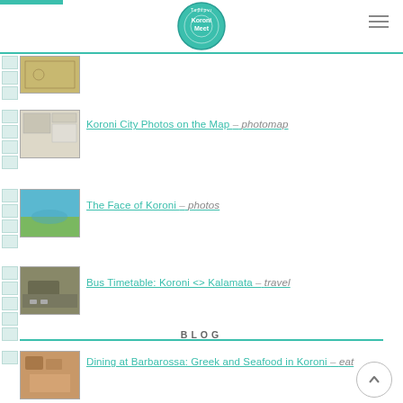Koroni Meet
[Figure (photo): Thumbnail image of Koroni map]
[Figure (photo): Thumbnail image of Koroni city photo map]
Koroni City Photos on the Map – photomap
[Figure (photo): Thumbnail image of Koroni coastal view]
The Face of Koroni – photos
[Figure (photo): Thumbnail image of bus/street scene]
Bus Timetable: Koroni <> Kalamata – travel
BLOG
[Figure (photo): Thumbnail image of food/dining at Barbarossa]
Dining at Barbarossa: Greek and Seafood in Koroni – eat